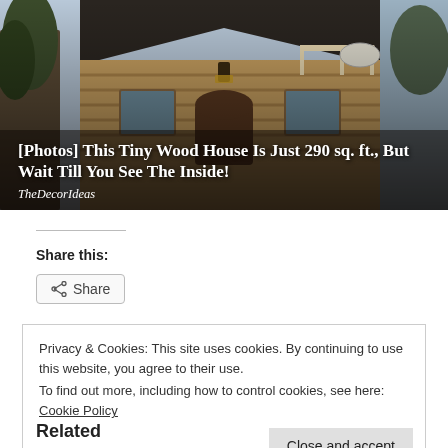[Figure (photo): Photo of a small wooden house/cottage with a steep dark roof, log construction, porch with decorative railing, lantern, and trees in the background. Overlaid with a dark title block at the bottom.]
[Photos] This Tiny Wood House Is Just 290 sq. ft., But Wait Till You See The Inside!
TheDecorIdeas
Share this:
Privacy & Cookies: This site uses cookies. By continuing to use this website, you agree to their use.
To find out more, including how to control cookies, see here: Cookie Policy
Related